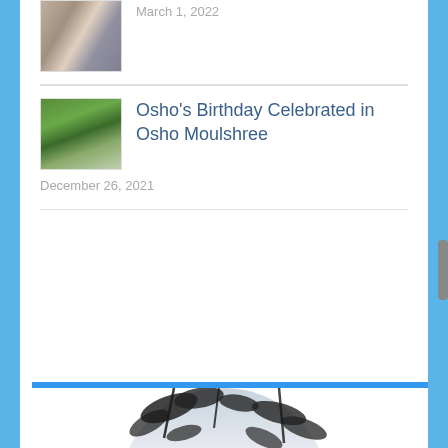[Figure (photo): Thumbnail photo at top, partially visible]
March 1, 2022
[Figure (photo): Thumbnail photo of group of people in front of building with trees]
Osho's Birthday Celebrated in Osho Moulshree
December 26, 2021
Activities in Osho Moulshree Commune
[Figure (photo): Circular/arch cropped photo of sky with clouds and tree leaves]